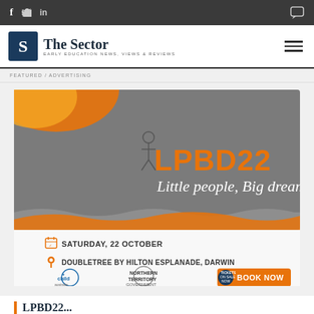f  twitter  in  [chat icon]
[Figure (logo): The Sector logo - S icon with text 'The Sector' and tagline 'EARLY EDUCATION NEWS, VIEWS & REVIEWS']
FEATURED / ADVERTISING
[Figure (infographic): LPBD22 - Little people, Big dreams event advertisement. Saturday, 22 October. Doubletree by Hilton Esplanade, Darwin. Child Australia and Northern Territory Government logos. Book Now button.]
LPBD22...